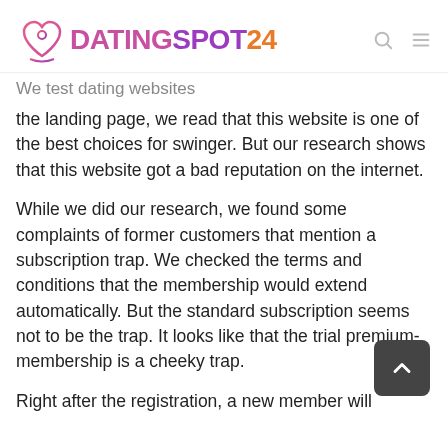[Figure (logo): DatingSpot24 logo with heart/location pin icon and text DATINGSPOT24]
We test dating websites
the landing page, we read that this website is one of the best choices for swinger. But our research shows that this website got a bad reputation on the internet.
While we did our research, we found some complaints of former customers that mention a subscription trap. We checked the terms and conditions that the membership would extend automatically. But the standard subscription seems not to be the trap. It looks like that the trial premium-membership is a cheeky trap.
Right after the registration, a new member will